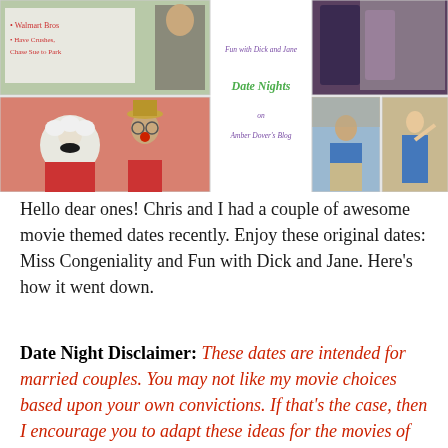[Figure (photo): Collage of photos: top-left shows a whiteboard with writing and a person, bottom-left shows two people in clown/costume makeup, center shows blog title text 'Fun with Dick and Jane Date Nights on Amber Dover's Blog', top-right shows a close-up of dark fabric/clothing, bottom-right shows two smaller photos of a man in blue shirt and a woman in blue dress]
Hello dear ones! Chris and I had a couple of awesome movie themed dates recently. Enjoy these original dates: Miss Congeniality and Fun with Dick and Jane. Here's how it went down.
Date Night Disclaimer: These dates are intended for married couples. You may not like my movie choices based upon your own convictions. If that's the case, then I encourage you to adapt these ideas for the movies of your choice. Ultimately my goal is to inspire others to have a